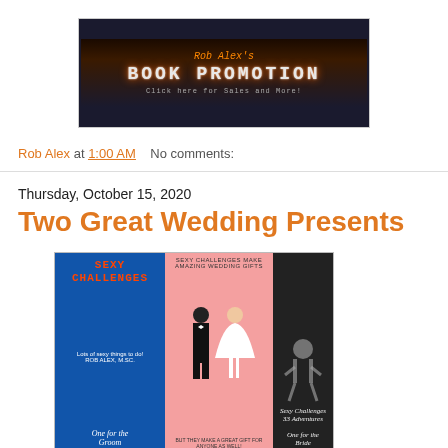[Figure (illustration): Book Promotion banner header with dark neon-style background showing 'BOOK PROMOTION' text in stylized letters]
Rob Alex at 1:00 AM    No comments:
Thursday, October 15, 2020
Two Great Wedding Presents
[Figure (illustration): Composite promotional image showing two book covers: 'Sexy Challenges' book for the Groom on the left (blue background), a wedding couple silhouette in the center (pink background), and another Sexy Challenges book for the Bride on the right (dark background). Text reads 'One for the Groom' and 'One for the Bride' and 'But They Make a Great Gift for Anyone as Well!']
Two Sexy Challenge Books that